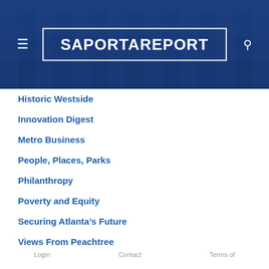SaportaReport
Historic Westside
Innovation Digest
Metro Business
People, Places, Parks
Philanthropy
Poverty and Equity
Securing Atlanta’s Future
Views From Peachtree
Sustainable Communities
Transit
Money Matters
Login   Contact   Terms of